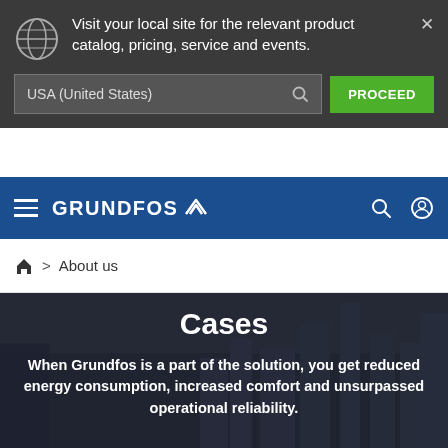Visit your local site for the relevant product catalog, pricing, service and events.
USA (United States)
PROCEED
[Figure (logo): Grundfos logo with navigation bar on dark blue background, hamburger menu, search icon, and user icon]
About us
Cases
When Grundfos is a part of the solution, you get reduced energy consumption, increased comfort and unsurpassed operational reliability.